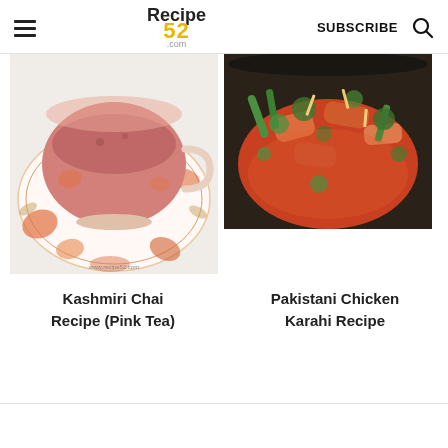Recipe 52 .com | SUBSCRIBE | [search icon]
[Figure (photo): Top-down view of a pink/rose-colored tea in an ornate white and orange floral-patterned cup on a matching saucer. Watermark: www.recipe52.com]
[Figure (photo): Top-down view of Pakistani Chicken Karahi dish in a dark wok/karahi pan with green chilies, cilantro, ginger strips and tomato-based sauce]
Kashmiri Chai Recipe (Pink Tea)
Pakistani Chicken Karahi Recipe